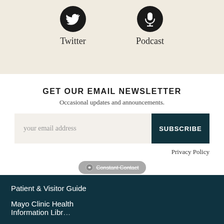[Figure (logo): Twitter bird icon (circular dark icon)]
Twitter
[Figure (logo): Podcast microphone icon (circular dark icon)]
Podcast
GET OUR EMAIL NEWSLETTER
Occasional updates and announcements.
your email address
SUBSCRIBE
Privacy Policy
[Figure (logo): Constant Contact badge/logo button]
Patient & Visitor Guide
Mayo Clinic Health Information Library